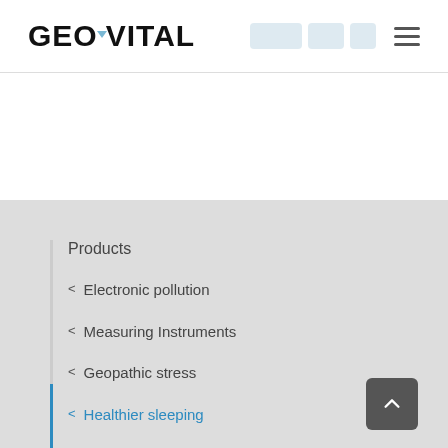GEOVITAL
Products
< Electronic pollution
< Measuring Instruments
< Geopathic stress
< Healthier sleeping